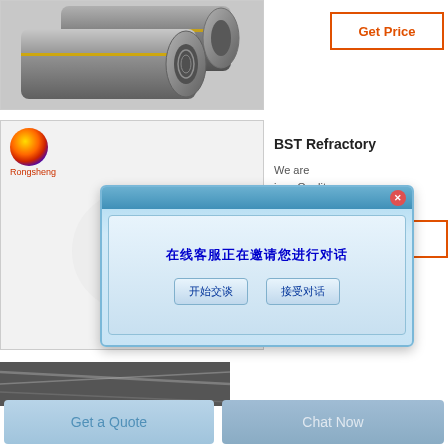[Figure (photo): Graphite electrodes – cylindrical grey rods with threaded ends, shown close-up]
[Figure (illustration): Red outlined Get Price button (top right)]
[Figure (logo): Rongsheng company logo with multicolor sphere and red text]
[Figure (screenshot): Chinese chat dialog popup with header, message '在线客服正在邀请您进行对话' and two buttons '开始交谈' and '接受对话']
BST Refractory
We are
ions Quality
[Figure (illustration): Red outlined Get Price button (mid right)]
[Figure (photo): Bottom strip product photo – dark industrial material]
[Figure (illustration): Get a Quote button – light blue]
[Figure (illustration): Chat Now button – medium blue]